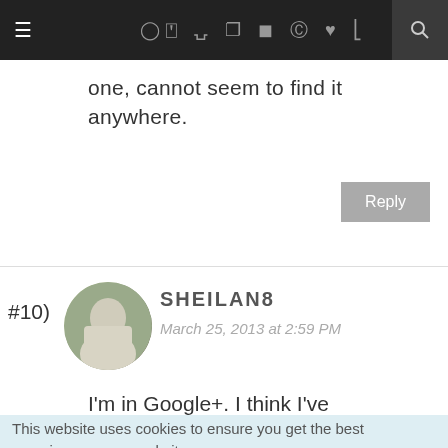≡  [chat icons] f twitter instagram pinterest heart rss  [search]
one, cannot seem to find it anywhere.
Reply
#10)  SHEILAN8  March 25, 2013 at 2:59 PM
I'm in Google+.  I think I've
This website uses cookies to ensure you get the best experience on our website.
Learn more
Got it!